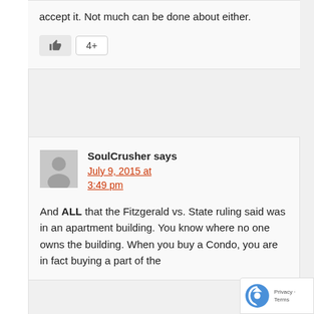accept it. Not much can be done about either.
[Figure (other): Like button with thumbs up icon and count badge showing 4+]
[Figure (other): User avatar placeholder (gray silhouette)]
SoulCrusher says
July 9, 2015 at 3:49 pm
And ALL that the Fitzgerald vs. State ruling said was in an apartment building. You know where no one owns the building. When you buy a Condo, you are in fact buying a part of the